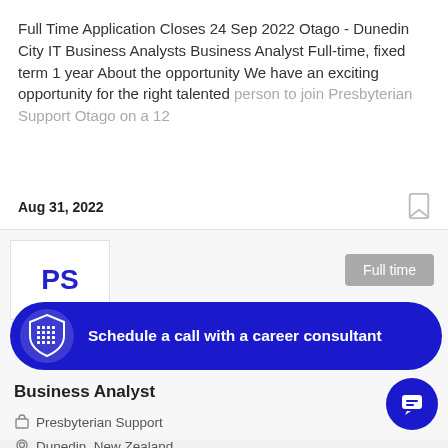Full Time Application Closes 24 Sep 2022 Otago - Dunedin City IT Business Analysts Business Analyst Full-time, fixed term 1 year About the opportunity We have an exciting opportunity for the right talented person to join Presbyterian Support Otago on a 12
Aug 31, 2022
[Figure (logo): PS logo in blue text]
Full time
[Figure (infographic): Blue rounded banner with shield logo: Schedule a call with a career consultant]
Business Analyst
Presbyterian Support
Dunedin, New Zealand